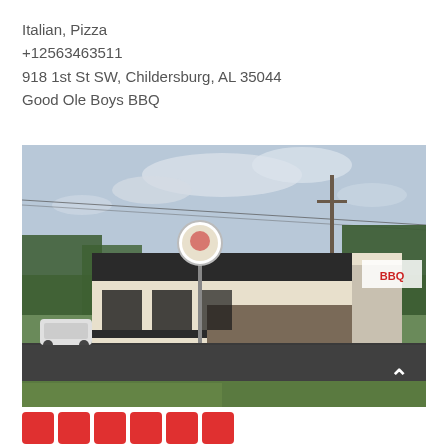Italian, Pizza
+12563463511
918 1st St SW, Childersburg, AL 35044
Good Ole Boys BBQ
[Figure (photo): Exterior photo of Good Ole Boys BBQ restaurant building, a low one-story beige and dark brown building with a BBQ sign, circular logo sign on a pole, green lawn, asphalt parking lot, power lines, and trees under a cloudy sky. A white SUV is visible at the left.]